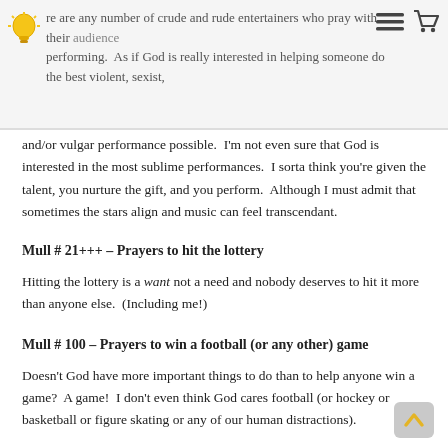re are any number of crude and rude entertainers who pray with their [audience] performing.  As if God is really interested in helping someone do the best violent, sexist, and/or vulgar performance possible.  I'm not even sure that God is interested in the most sublime performances.  I sorta think you're given the talent, you nurture the gift, and you perform.  Although I must admit that sometimes the stars align and music can feel transcendant.
Mull # 21+++ – Prayers to hit the lottery
Hitting the lottery is a want not a need and nobody deserves to hit it more than anyone else.  (Including me!)
Mull # 100 – Prayers to win a football (or any other) game
Doesn't God have more important things to do than to help anyone win a game?  A game!  I don't even think God cares football (or hockey or basketball or figure skating or any of our human distractions).